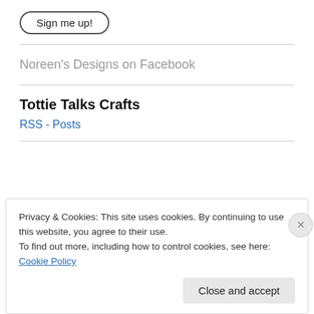Sign me up!
Noreen's Designs on Facebook
Tottie Talks Crafts
RSS - Posts
Privacy & Cookies: This site uses cookies. By continuing to use this website, you agree to their use. To find out more, including how to control cookies, see here: Cookie Policy
Close and accept